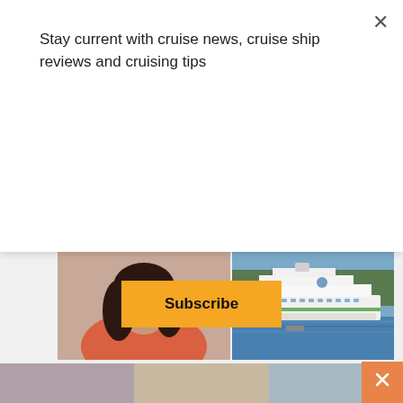Stay current with cruise news, cruise ship reviews and cruising tips
Subscribe
[Figure (photo): Close-up photo of a woman with long dark hair wearing a coral/red top, smiling]
[Figure (photo): Photo of a large white cruise ship on blue water with trees in the background]